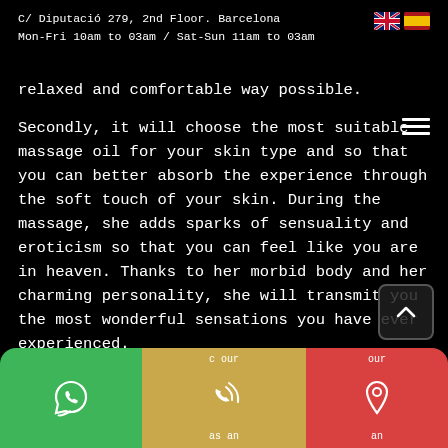C/ Diputació 279, 2nd Floor. Barcelona
Mon-Fri 10am to 03am / Sat-Sun 11am to 03am
relaxed and comfortable way possible.

Secondly, it will choose the most suitable massage oil for your skin type and so that you can better absorb the experience through the soft touch of your skin. During the massage, she adds sparks of sensuality and eroticism so that you can feel like you are in heaven. Thanks to her morbid body and her charming personality, she will transmit you the most wonderful sensations you have ever experienced.

And finally, in the third phase, you create the ideal moment by increasing the intensity and fervor of the massage. Then, she will do everything possible so that you can reach the most absolute ecstasy thanks to her tantric massage techniques.
[Figure (other): Bottom navigation bar with three buttons: WhatsApp (green), phone call (tan/gold), and location pin (red). Partial text labels visible.]